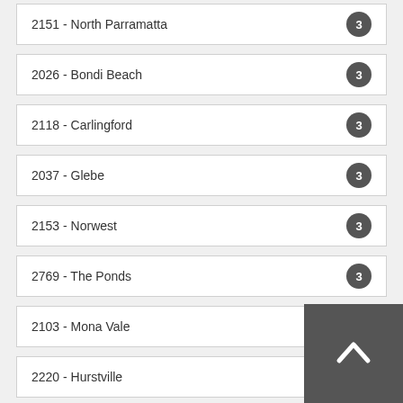2151 - North Parramatta
2026 - Bondi Beach
2118 - Carlingford
2037 - Glebe
2153 - Norwest
2769 - The Ponds
2103 - Mona Vale
2220 - Hurstville
2089 - Neutral Bay